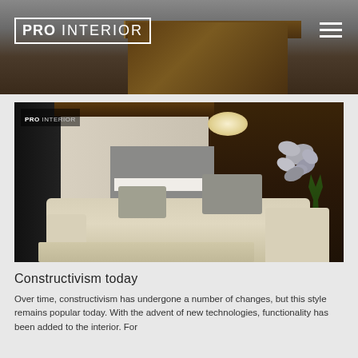[Figure (photo): Header banner photo showing a modern office interior with a dark wooden reception desk, with PRO INTERIOR logo overlay and hamburger menu icon]
[Figure (photo): Interior design photo of a modern living room with a cream sectional sofa, metallic sculptural wall art on a dark brown accent wall, pendant lamp, green plants, and recessed lighting]
Constructivism today
Over time, constructivism has undergone a number of changes, but this style remains popular today. With the advent of new technologies, functionality has been added to the interior. For